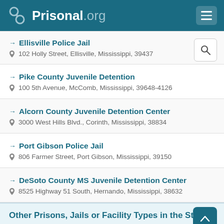Prisonal.org
Ellisville Police Jail
102 Holly Street, Ellisville, Mississippi, 39437
Pike County Juvenile Detention
100 5th Avenue, McComb, Mississippi, 39648-4126
Alcorn County Juvenile Detention Center
3000 West Hills Blvd., Corinth, Mississippi, 38834
Port Gibson Police Jail
806 Farmer Street, Port Gibson, Mississippi, 39150
DeSoto County MS Juvenile Detention Center
8525 Highway 51 South, Hernando, Mississippi, 38632
Other Prisons, Jails or Facility Types in the State